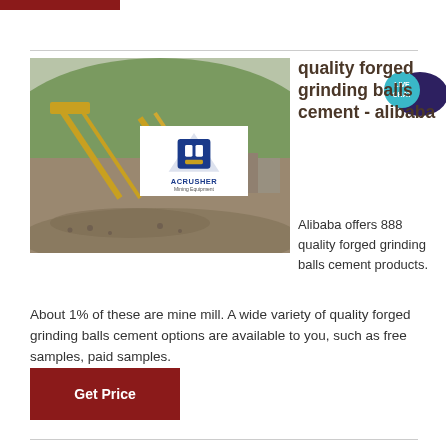[Figure (photo): Mining/crushing equipment site with conveyor belts and gravel/ore, industrial setting with green hills in background. ACRUSHER Mining Equipment logo overlay.]
quality forged grinding balls cement - alibaba
Alibaba offers 888 quality forged grinding balls cement products. About 1% of these are mine mill. A wide variety of quality forged grinding balls cement options are available to you, such as free samples, paid samples.
Get Price